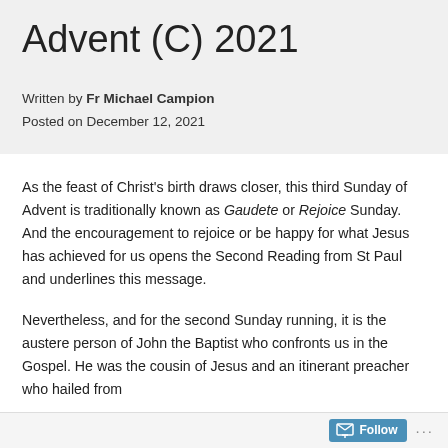Advent (C) 2021
Written by Fr Michael Campion
Posted on December 12, 2021
As the feast of Christ's birth draws closer, this third Sunday of Advent is traditionally known as Gaudete or Rejoice Sunday. And the encouragement to rejoice or be happy for what Jesus has achieved for us opens the Second Reading from St Paul and underlines this message.
Nevertheless, and for the second Sunday running, it is the austere person of John the Baptist who confronts us in the Gospel. He was the cousin of Jesus and an itinerant preacher who hailed from
Follow ...